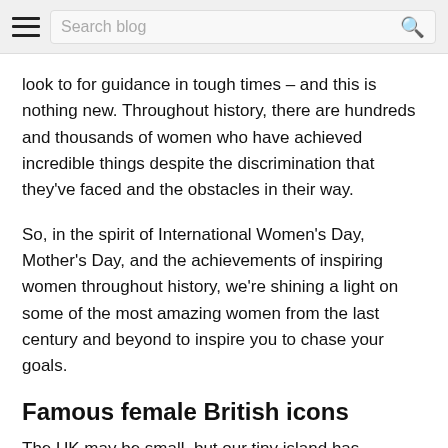Search blog
look to for guidance in tough times – and this is nothing new. Throughout history, there are hundreds and thousands of women who have achieved incredible things despite the discrimination that they've faced and the obstacles in their way.
So, in the spirit of International Women's Day, Mother's Day, and the achievements of inspiring women throughout history, we're shining a light on some of the most amazing women from the last century and beyond to inspire you to chase your goals.
Famous female British icons
The UK may be small, but our tiny island has produced